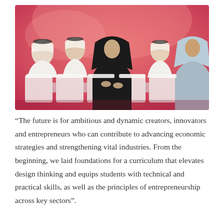[Figure (photo): A photograph of people seated at an event, including a woman in a black abaya and hijab in the center, a woman in a light blue hijab on the right, and men in white traditional Gulf attire on the left, against a pink/coral lit background.]
“The future is for ambitious and dynamic creators, innovators and entrepreneurs who can contribute to advancing economic strategies and strengthening vital industries. From the beginning, we laid foundations for a curriculum that elevates design thinking and equips students with technical and practical skills, as well as the principles of entrepreneurship across key sectors”.